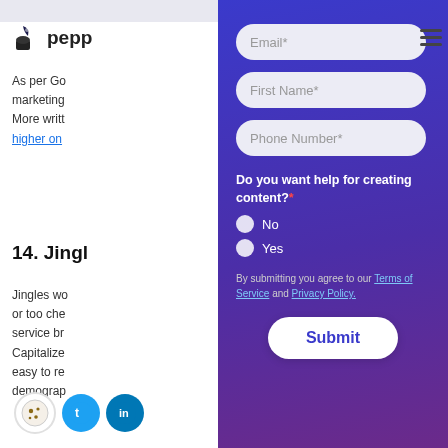[Figure (logo): Pepper content platform logo with ink bottle icon and partial text 'peppe']
As per Go... marketing... More writt... higher on ...
14. Jingl...
Jingles wo... or too che... service br... Capitalize... easy to re... demograp...
[Figure (screenshot): Modal popup form overlay on purple/indigo gradient background with fields for Email*, First Name*, Phone Number*, a question 'Do you want help for creating content?*' with No/Yes radio buttons, terms of service text, and a Submit button]
By submitting you agree to our Terms of Service and Privacy Policy.
Submit